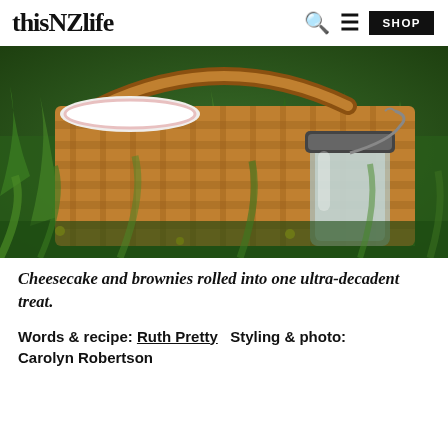thisNZlife | SHOP
[Figure (photo): Close-up photo of a wicker picnic basket sitting in green grass with yellow flowers, next to a glass jar with a metal clip lid.]
Cheesecake and brownies rolled into one ultra-decadent treat.
Words & recipe: Ruth Pretty  Styling & photo: Carolyn Robertson